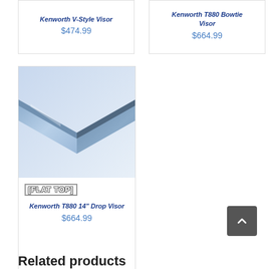Kenworth V-Style Visor
$474.99
Kenworth T880 Bowtie Visor
$664.99
[Figure (photo): Blue metallic truck visor product image with a V-shape, shown from the front]
[FLAT TOP]
Kenworth T880 14" Drop Visor
$664.99
Related products